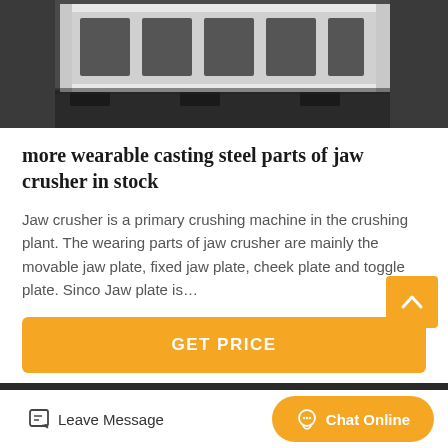[Figure (photo): Industrial jaw crusher white metal frame parts on dark floor in factory/warehouse]
more wearable casting steel parts of jaw crusher in stock
Jaw crusher is a primary crushing machine in the crushing plant. The wearing parts of jaw crusher are mainly the movable jaw plate, fixed jaw plate, cheek plate and toggle plate. Sinco Jaw plate is…
[Figure (other): GET PRICE button — orange/amber rounded rectangle]
[Figure (photo): Industrial cone crusher with red flywheels in a factory setting, ladder and steel structure in background]
[Figure (other): Back-to-top arrow button in orange/amber square]
[Figure (other): Bottom bar with Leave Message icon-link and Chat Online button]